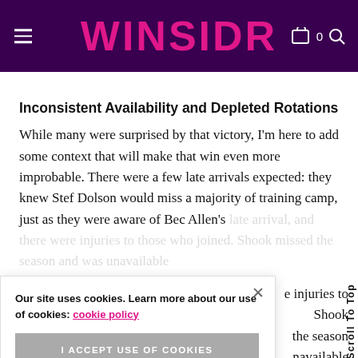WINSIDR
Inconsistent Availability and Depleted Rotations
While many were surprised by that victory, I'm here to add some context that will make that win even more improbable. There were a few late arrivals expected: they knew Stef Dolson would miss a majority of training camp, just as they were aware of Bec Allen's [text continues] ...e injuries to [text continues] Shook [text continues] the season [text continues] unavailable
Our site uses cookies. Learn more about our use of cookies: cookie policy
I ACCEPT USE OF COOKIES